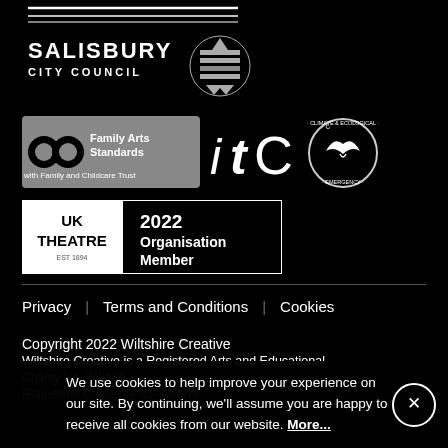[Figure (logo): Decorative horizontal lines (top of page, partially visible)]
[Figure (logo): Salisbury City Council logo with coat of arms]
[Figure (logo): Family Arts Standards with Family and Childcare Trust badge]
[Figure (logo): ITC (Independent Theatre Council) logo]
[Figure (logo): Climate & Ecological Emergency circular badge]
[Figure (logo): UK Theatre 2022 Organisation Member badge]
Privacy   Terms and Conditions   Cookies
Copyright 2022 Wiltshire Creative
Wiltshire Creative is a Registered Arts and Educational
Charity No. 249169
Registered Company No. 499076
We use cookies to help improve your experience on our site. By continuing, we'll assume you are happy to receive all cookies from our website. More...